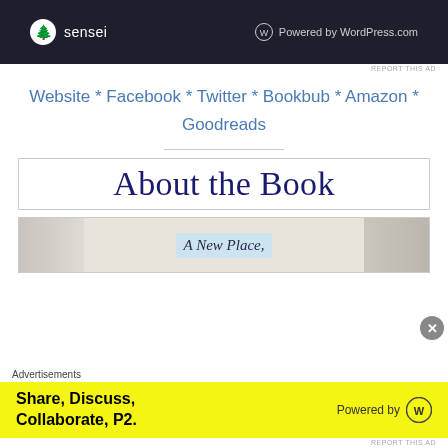[Figure (screenshot): Sensei and WordPress.com advertisement banner on dark background]
REPORT THIS AD
Website * Facebook * Twitter * Bookbub * Amazon * Goodreads
About the Book
[Figure (photo): Book cover image showing 'A New Place,' text on a blurred background]
Advertisements
[Figure (screenshot): Advertisement: Share, Discuss, Collaborate, P2. Powered by WordPress.com on yellow background]
REPORT THIS AD